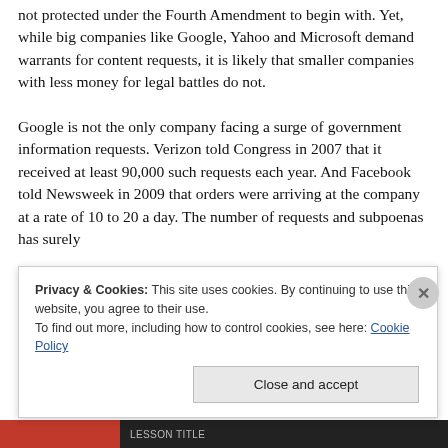not protected under the Fourth Amendment to begin with. Yet, while big companies like Google, Yahoo and Microsoft demand warrants for content requests, it is likely that smaller companies with less money for legal battles do not.
Google is not the only company facing a surge of government information requests. Verizon told Congress in 2007 that it received at least 90,000 such requests each year. And Facebook told Newsweek in 2009 that orders were arriving at the company at a rate of 10 to 20 a day. The number of requests and subpoenas has surely
Privacy & Cookies: This site uses cookies. By continuing to use this website, you agree to their use.
To find out more, including how to control cookies, see here: Cookie Policy
Close and accept